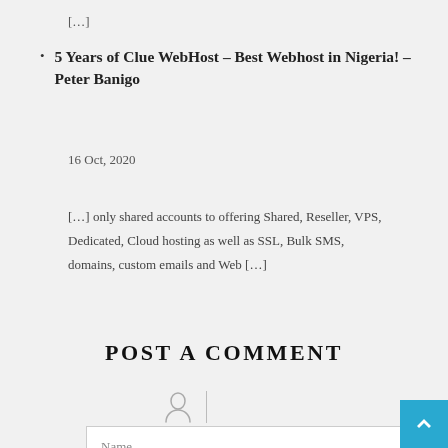[…]
5 Years of Clue WebHost – Best Webhost in Nigeria! – Peter Banigo
16 Oct, 2020
[…] only shared accounts to offering Shared, Reseller, VPS, Dedicated, Cloud hosting as well as SSL, Bulk SMS, domains, custom emails and Web […]
POST A COMMENT
[Figure (other): User/person icon with a vertical divider line]
Name